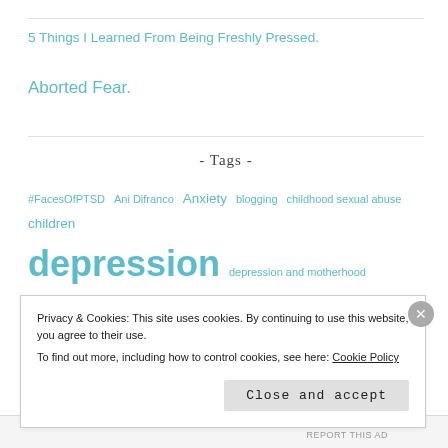5 Things I Learned From Being Freshly Pressed.
Aborted Fear.
- Tags -
#FacesOfPTSD Ani Difranco Anxiety blogging childhood sexual abuse children depression depression and motherhood Facebook Family fear fiction flash fiction four year old gargleblaster grief humor kids lessons learned marriage mental health mental illness mom Momma
Privacy & Cookies: This site uses cookies. By continuing to use this website, you agree to their use.
To find out more, including how to control cookies, see here: Cookie Policy
Close and accept